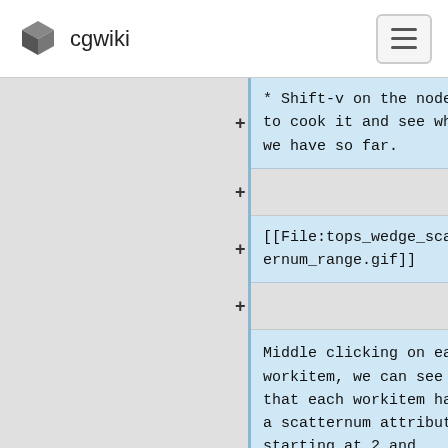cgwiki
* Shift-v on the node to cook it and see what we have so far.
[[File:tops_wedge_scatternum_range.gif]]
Middle clicking on each workitem, we can see that each workitem has a scatternum attribute, starting at 2 and ending at 6. That might be useful for other things, but here we don't want it to be gradually increasing...